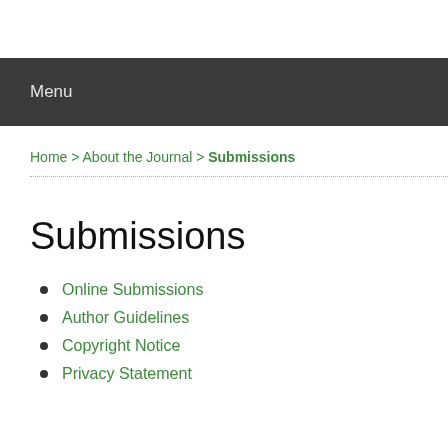Menu
Home > About the Journal > Submissions
Submissions
Online Submissions
Author Guidelines
Copyright Notice
Privacy Statement